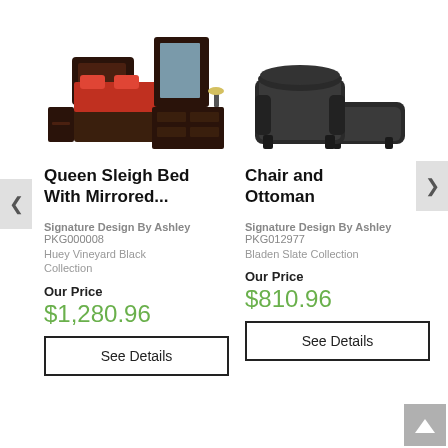[Figure (photo): Queen Sleigh Bed With Mirrored Dresser bedroom furniture set in dark finish with red bedding]
Queen Sleigh Bed With Mirrored...
Signature Design By Ashley PKG000008
Huey Vineyard Black Collection
Our Price
$1,280.96
See Details
[Figure (photo): Chair and Ottoman set in dark gray/slate leather]
Chair and Ottoman
Signature Design By Ashley PKG012977
Bladen Slate Collection
Our Price
$810.96
See Details